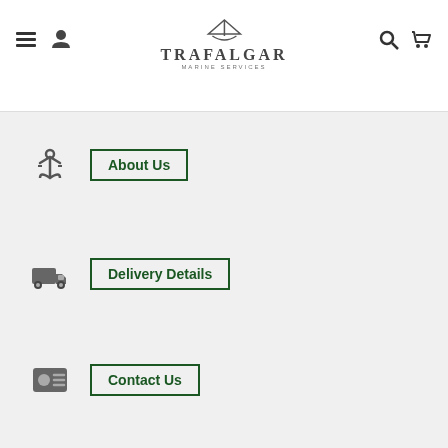[Figure (logo): Trafalgar Marine Services logo with boat silhouette]
About Us
Delivery Details
Contact Us
FAQ's